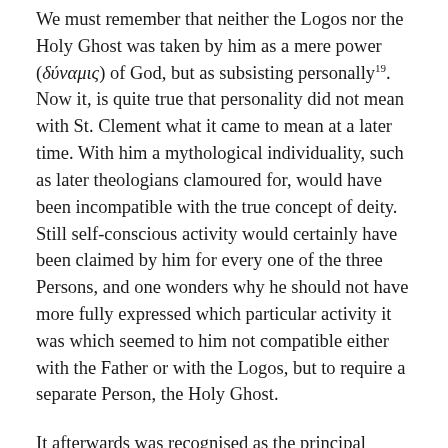We must remember that neither the Logos nor the Holy Ghost was taken by him as a mere power (δύναμις) of God, but as subsisting personally¹⁹. Now it, is quite true that personality did not mean with St. Clement what it came to mean at a later time. With him a mythological individuality, such as later theologians clamoured for, would have been incompatible with the true concept of deity. Still self-conscious activity would certainly have been claimed by him for every one of the three Persons, and one wonders why he should not have more fully expressed which particular activity it was which seemed to him not compatible either with the Father or with the Logos, but to require a separate Person, the Holy Ghost.
It afterwards was recognised as the principal function of the Holy Ghost to bring the world, and more particularly the human soul, back to the consciousness